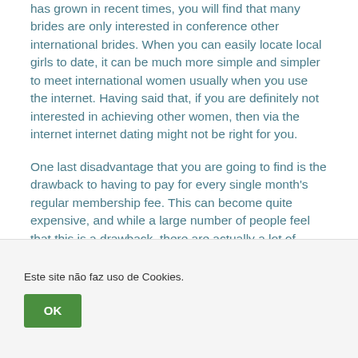has grown in recent times, you will find that many brides are only interested in conference other international brides. When you can easily locate local girls to date, it can be much more simple and simpler to meet international women usually when you use the internet. Having said that, if you are definitely not interested in achieving other women, then via the internet internet dating might not be right for you.
One last disadvantage that you are going to find is the drawback to having to pay for every single month’s regular membership fee. This can become quite expensive, and while a large number of people feel that this is a drawback, there are actually a lot of advantages to using a
Este site não faz uso de Cookies.